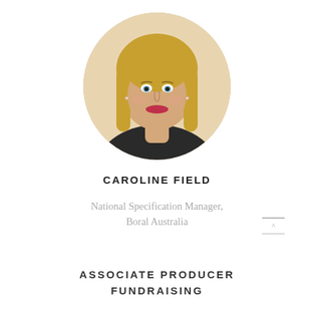[Figure (photo): Circular cropped headshot of Caroline Field, a woman with blonde hair, blue eyes, and red lipstick, smiling at the camera.]
CAROLINE FIELD
National Specification Manager, Boral Australia
ASSOCIATE PRODUCER FUNDRAISING